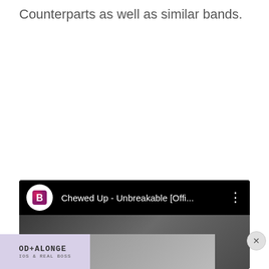Counterparts as well as similar bands.
[Figure (screenshot): YouTube video player embed showing channel icon with letter B logo and video title 'Chewed Up - Unbreakable [Offi...' with three-dot menu, dark thumbnail area below]
[Figure (screenshot): Advertisement banner at bottom showing partial logo text 'OD+ALONGE' with small subtext, next to a dark image area, with an X close button on the right]